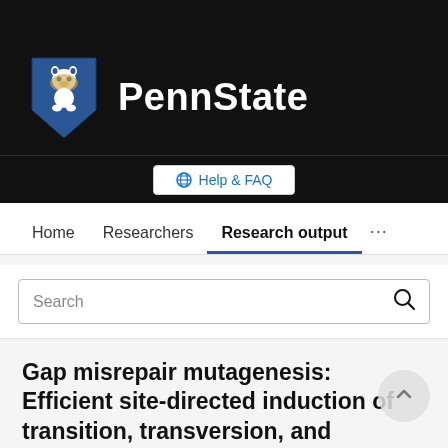[Figure (logo): Penn State university logo with shield containing lion mascot and PennState text in white on dark background]
Help & FAQ
Home   Researchers   Research output   ...
Search
Gap misrepair mutagenesis: Efficient site-directed induction of transition, transversion, and frameshift mutations in vitro